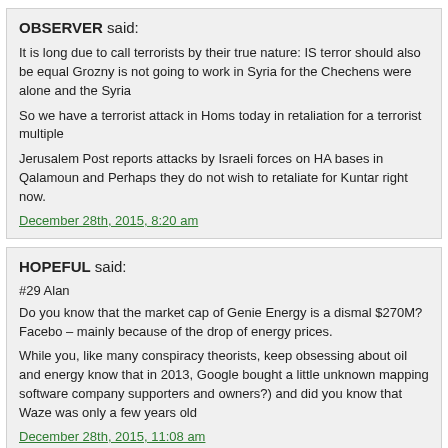OBSERVER said:
It is long due to call terrorists by their true nature: IS terror should also be equal... Grozny is not going to work in Syria for the Chechens were alone and the Syria...
So we have a terrorist attack in Homs today in retaliation for a terrorist multiple...
Jerusalem Post reports attacks by Israeli forces on HA bases in Qalamoun and... Perhaps they do not wish to retaliate for Kuntar right now.
December 28th, 2015, 8:20 am
HOPEFUL said:
#29 Alan
Do you know that the market cap of Genie Energy is a dismal $270M? Facebo... – mainly because of the drop of energy prices.
While you, like many conspiracy theorists, keep obsessing about oil and energy... know that in 2013, Google bought a little unknown mapping software company ... supporters and owners?) and did you know that Waze was only a few years old...
December 28th, 2015, 11:08 am
GHUFRAN said:
Erdogan sold the refugees and finally made it official and imposed a visa on sy... privileged into the EU as a reward for reducing the influx of refugees into the EU... can see and let their brain and not their primitive emotions shape their thinking... Another suicide bombing and car explosion in Homs, aksalser, the 2.0 ikhwanji... slaughtered was " pro regime" thus indirectly justifying the terror act. Another lie... political cover they need. Isis will be more than happy to take credit, they alway...